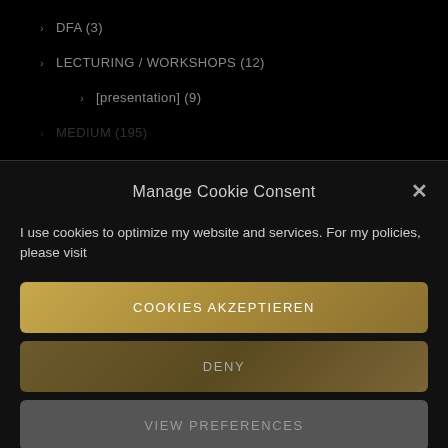> DFA (3)
> LECTURING / WORKSHOPS (12)
> [presentation] (9)
> MEDIUM (195)
Manage Cookie Consent
I use cookies to optimize my website and services. For my policies, please visit
COOKIES AKZEPTIEREN
DENY
VIEW PREFERENCES
Cookie-Richtlinie   IMPRESSUM